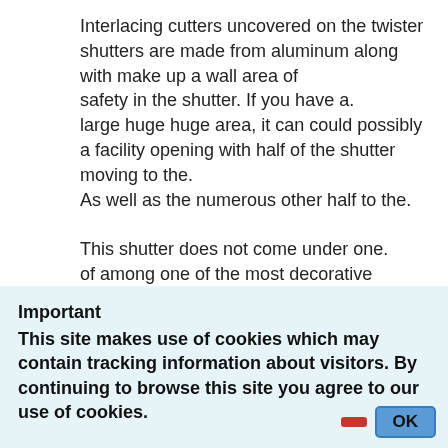Interlacing cutters uncovered on the twister shutters are made from aluminum along with make up a wall area of
safety in the shutter. If you have a.
large huge huge area, it can could possibly a facility opening with half of the shutter moving to the.
As well as the numerous other half to the.

This shutter does not come under one.
of among one of the most decorative creates of shutters, it.
does provide outstanding protection versus break-in,.
flying bits, called for entryway, and also the.
awful hurricane. Twister shutters will.
offer you a lot more individual privacy as well as help
Important
This site makes use of cookies which may contain tracking information about visitors. By continuing to browse this site you agree to our use of cookies.